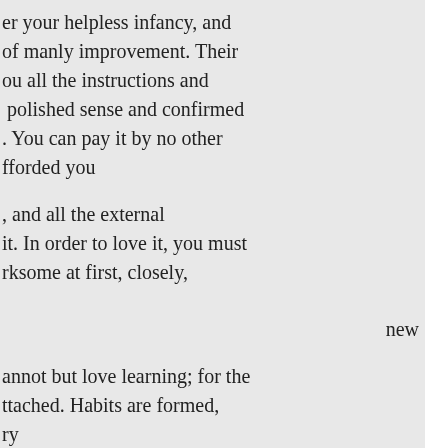er your helpless infancy, and of manly improvement. Their ou all the instructions and polished sense and confirmed . You can pay it by no other fforded you
, and all the external it. In order to love it, you must rksome at first, closely,
new
annot but love learning; for the ttached. Habits are formed, ry
e. Yours then, is surely a lot s, to prepare you to receive a e first objects of classical ew. Elegance of taste has a nd. It tends to render you, at oyment, if you enter on the with reluctance. Value duly the